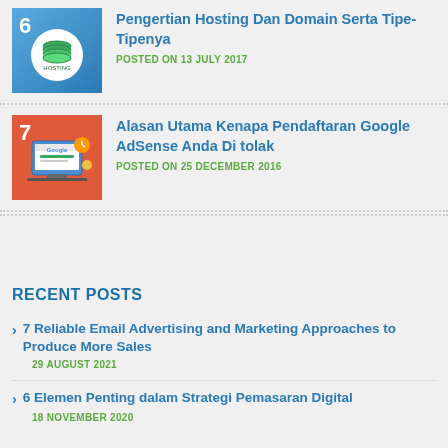[Figure (illustration): Thumbnail image number 6 with blue gradient background showing a hosting icon (database/server stacked cylinders) inside a white circle]
Pengertian Hosting Dan Domain Serta Tipe-Tipenya
POSTED ON 13 JULY 2017
[Figure (illustration): Thumbnail image number 7 with red background showing a Google AdSense related illustration with a laptop/monitor displaying Google logo]
Alasan Utama Kenapa Pendaftaran Google AdSense Anda Di tolak
POSTED ON 25 DECEMBER 2016
RECENT POSTS
7 Reliable Email Advertising and Marketing Approaches to Produce More Sales
29 AUGUST 2021
6 Elemen Penting dalam Strategi Pemasaran Digital
18 NOVEMBER 2020